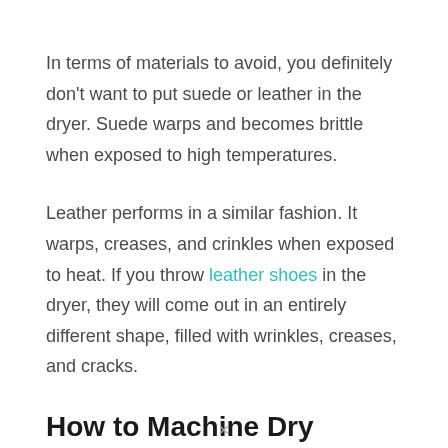In terms of materials to avoid, you definitely don't want to put suede or leather in the dryer. Suede warps and becomes brittle when exposed to high temperatures.
Leather performs in a similar fashion. It warps, creases, and crinkles when exposed to heat. If you throw leather shoes in the dryer, they will come out in an entirely different shape, filled with wrinkles, creases, and cracks.
How to Machine Dry Shoes